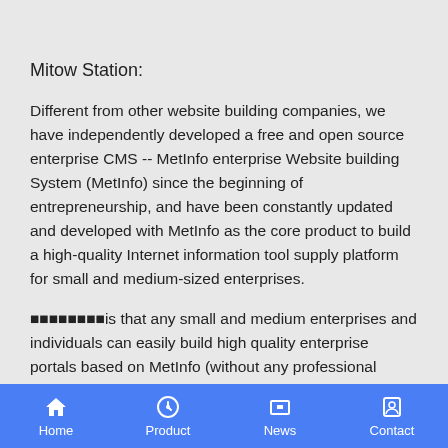Mitow Station:
Different from other website building companies, we have independently developed a free and open source enterprise CMS -- MetInfo enterprise Website building System (MetInfo) since the beginning of entrepreneurship, and have been constantly updated and developed with MetInfo as the core product to build a high-quality Internet information tool supply platform for small and medium-sized enterprises.
■■■■■■■■is that any small and medium enterprises and individuals can easily build high quality enterprise portals based on MetInfo (without any professional skills); We do not mix the current website construction industry chaos, to provide "clear and affordable" prices and quality after-sales service. By
Home  Product  News  Contact